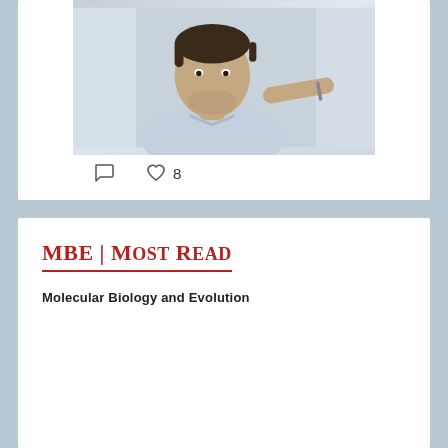[Figure (photo): Photo of a man with short dark hair and beard, wearing a light blue collared shirt, holding what appears to be a pen or marker, standing in front of a whiteboard or wall]
comment icon  ♡ 8
MBE | Most Read
Molecular Biology and Evolution